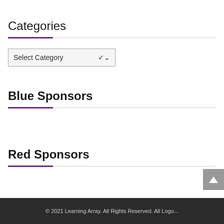Categories
Select Category
Blue Sponsors
Red Sponsors
© 2021 Learning Array. All Rights Reserved. All Logo...